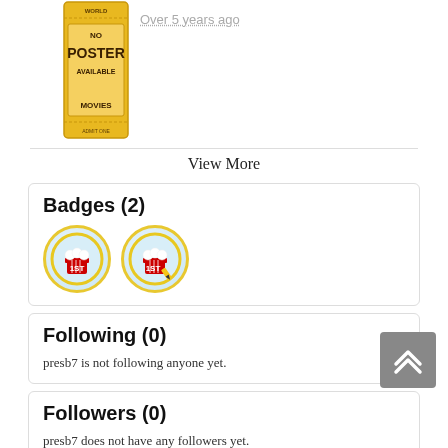[Figure (illustration): Movie ticket stub illustration labeled NO POSTER AVAILABLE MOVIES]
Over 5 years ago
View More
Badges (2)
[Figure (illustration): Two circular badge icons with red popcorn and '1st' text, yellow border on light blue background]
Following (0)
presb7 is not following anyone yet.
Followers (0)
presb7 does not have any followers yet.
Most DOGO Points
Rank  Name  Score